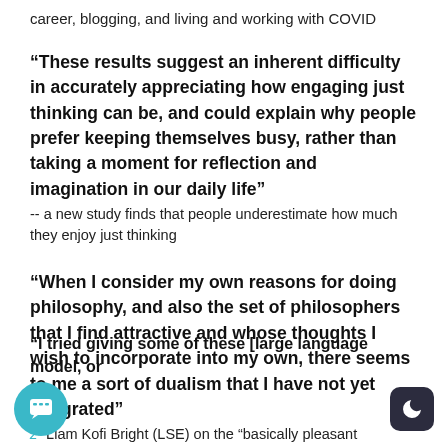career, blogging, and living and working with COVID
“These results suggest an inherent difficulty in accurately appreciating how engaging just thinking can be, and could explain why people prefer keeping themselves busy, rather than taking a moment for reflection and imagination in our daily life”
-- a new study finds that people underestimate how much they enjoy just thinking
“When I consider my own reasons for doing philosophy, and also the set of philosophers that I find attractive and whose thoughts I wish to incorporate into my own, there seems to me a sort of dualism that I have not yet integrated”
- Liam Kofi Bright (LSE) on the "basically pleasant bureaucrat" and the "sexy murder poet"
“I tried giving some of these [large language model, or